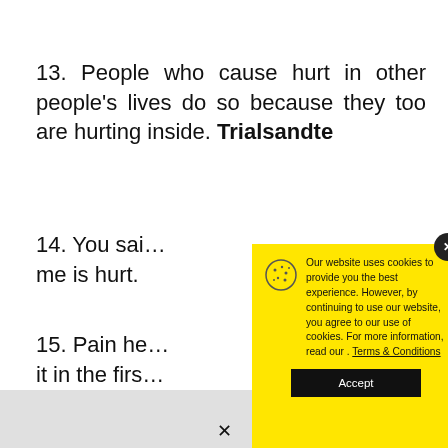13. People who cause hurt in other people's lives do so because they too are hurting inside. Trialsandte…
14. You sai… me is hurt.
15. Pain he… it in the firs…
[Figure (screenshot): Cookie consent popup modal with yellow background. Contains a cookie icon, text reading 'Our website uses cookies to provide you the best experience. However, by continuing to use our website, you agree to our use of cookies. For more information, read our . Terms & Conditions', and a black Accept button. A dark circular close button with an X is in the top right corner.]